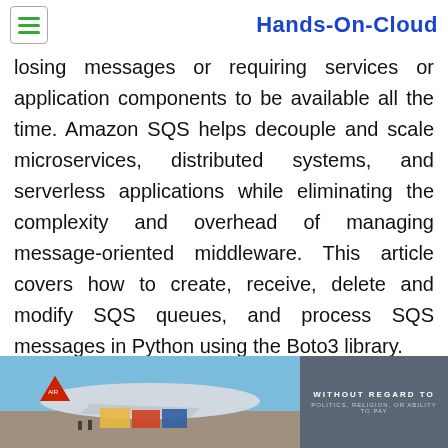Hands-On-Cloud
losing messages or requiring services or application components to be available all the time. Amazon SQS helps decouple and scale microservices, distributed systems, and serverless applications while eliminating the complexity and overhead of managing message-oriented middleware. This article covers how to create, receive, delete and modify SQS queues, and process SQS messages in Python using the Boto3 library.
[Figure (photo): Advertisement banner showing an airplane being loaded with cargo, with a dark overlay panel on the right reading 'WITHOUT REGARD TO' in white text.]